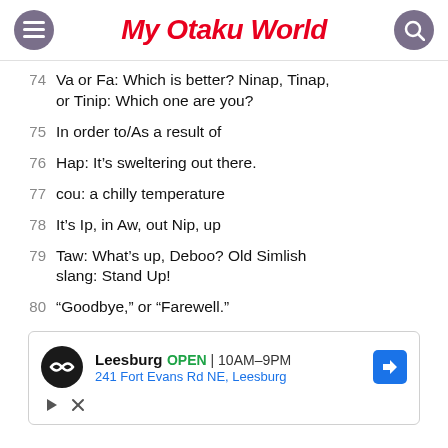My Otaku World
74  Va or Fa: Which is better? Ninap, Tinap, or Tinip: Which one are you?
75  In order to/As a result of
76  Hap: It’s sweltering out there.
77  cou: a chilly temperature
78  It’s Ip, in Aw, out Nip, up
79  Taw: What’s up, Deboo? Old Simlish slang: Stand Up!
80  “Goodbye,” or “Farewell.”
[Figure (other): Advertisement: Leesburg OPEN 10AM-9PM, 241 Fort Evans Rd NE, Leesburg with navigation arrow icon]